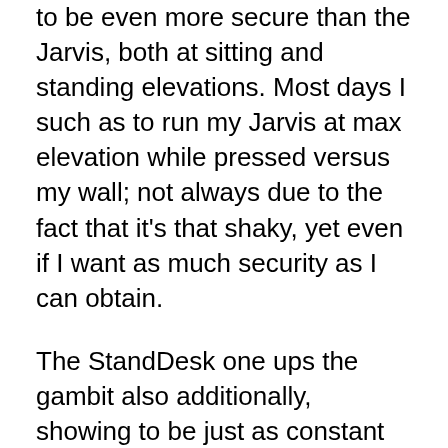to be even more secure than the Jarvis, both at sitting and standing elevations. Most days I such as to run my Jarvis at max elevation while pressed versus my wall; not always due to the fact that it's that shaky, yet even if I want as much security as I can obtain.
The StandDesk one ups the gambit also additionally, showing to be just as constant on its own at standing elevation as the Jarvis is with wall support. This is all without the business's bar enhancement, which they declare includes even more stability when purchased as a part of the bundle deal.When it involves weight resistance, the StandDesk shares yet even more statistics with the Jarvis, being rated for up to 350 pounds of weight capacity.